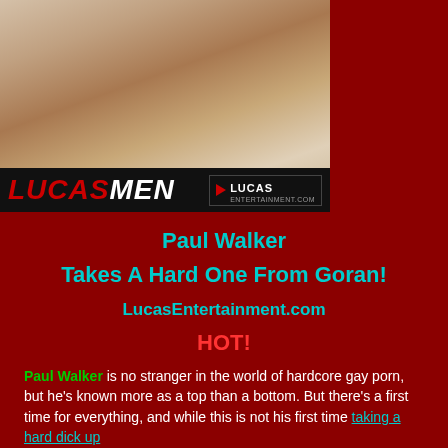[Figure (photo): Two men in white underwear photographed from below the waist, with a LucasMen logo bar at the bottom of the image]
Paul Walker
Takes A Hard One From Goran!
LucasEntertainment.com
HOT!
Paul Walker is no stranger in the world of hardcore gay porn, but he's known more as a top than a bottom. But there's a first time for everything, and while this is not his first time taking a hard dick up